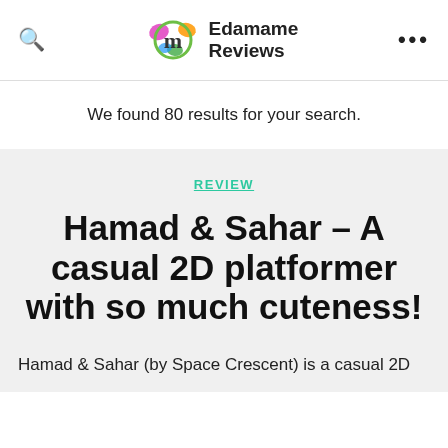Edamame Reviews
We found 80 results for your search.
REVIEW
Hamad & Sahar – A casual 2D platformer with so much cuteness!
Hamad & Sahar (by Space Crescent) is a casual 2D